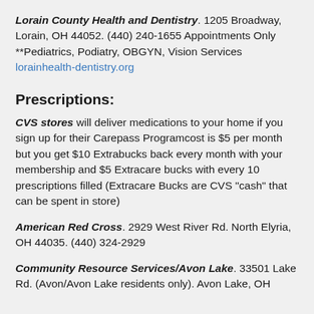Lorain County Health and Dentistry. 1205 Broadway, Lorain, OH 44052. (440) 240-1655 Appointments Only **Pediatrics, Podiatry, OBGYN, Vision Services lorainhealth-dentistry.org
Prescriptions:
CVS stores will deliver medications to your home if you sign up for their Carepass Programcost is $5 per month but you get $10 Extrabucks back every month with your membership and $5 Extracare bucks with every 10 prescriptions filled (Extracare Bucks are CVS "cash" that can be spent in store)
American Red Cross. 2929 West River Rd. North Elyria, OH 44035. (440) 324-2929
Community Resource Services/Avon Lake. 33501 Lake Rd. (Avon/Avon Lake residents only). Avon Lake, OH